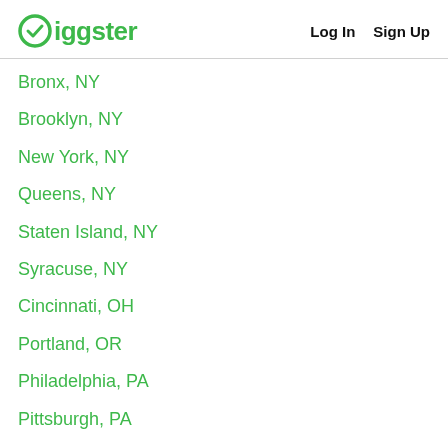Giggster  Log In  Sign Up
Bronx, NY
Brooklyn, NY
New York, NY
Queens, NY
Staten Island, NY
Syracuse, NY
Cincinnati, OH
Portland, OR
Philadelphia, PA
Pittsburgh, PA
Providence, RI
Charleston, SC